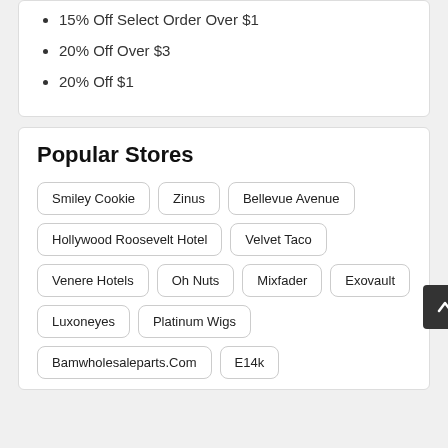15% Off Select Order Over $1
20% Off Over $3
20% Off $1
Popular Stores
Smiley Cookie
Zinus
Bellevue Avenue
Hollywood Roosevelt Hotel
Velvet Taco
Venere Hotels
Oh Nuts
Mixfader
Exovault
Luxoneyes
Platinum Wigs
Bamwholesaleparts.Com
E14k